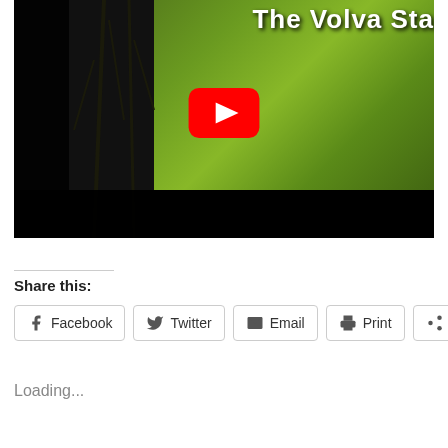[Figure (screenshot): YouTube video thumbnail showing a silhouetted figure among trees with green foliage background. Title text 'The Voiva Sta...' visible at top. Red YouTube play button in center.]
Share this:
Facebook  Twitter  Email  Print  More
Loading...